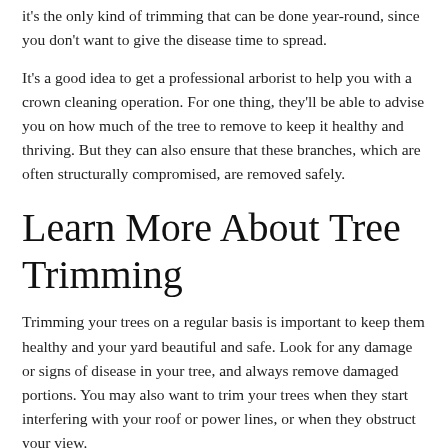it's the only kind of trimming that can be done year-round, since you don't want to give the disease time to spread.
It's a good idea to get a professional arborist to help you with a crown cleaning operation. For one thing, they'll be able to advise you on how much of the tree to remove to keep it healthy and thriving. But they can also ensure that these branches, which are often structurally compromised, are removed safely.
Learn More About Tree Trimming
Trimming your trees on a regular basis is important to keep them healthy and your yard beautiful and safe. Look for any damage or signs of disease in your tree, and always remove damaged portions. You may also want to trim your trees when they start interfering with your roof or power lines, or when they obstruct your view.
If you'd like to learn more about tree trimming, check